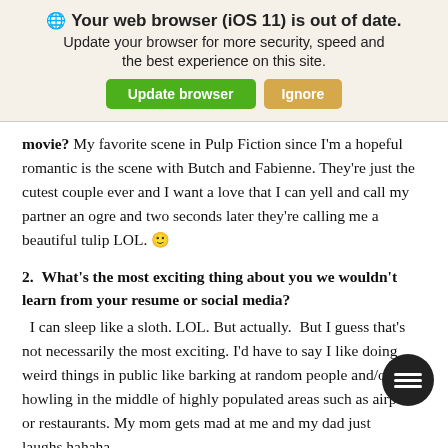[Figure (screenshot): Browser update notification banner with globe icon, bold title 'Your web browser (iOS 11) is out of date.', subtitle text, and two buttons: green 'Update browser' and tan 'Ignore'.]
movie? My favorite scene in Pulp Fiction since I'm a hopeful romantic is the scene with Butch and Fabienne. They're just the cutest couple ever and I want a love that I can yell and call my partner an ogre and two seconds later they're calling me a beautiful tulip LOL. 🙂
2. What's the most exciting thing about you we wouldn't learn from your resume or social media?
I can sleep like a sloth. LOL. But actually. But I guess that's not necessarily the most exciting. I'd have to say I like doing weird things in public like barking at random people and/or howling in the middle of highly populated areas such as airports or restaurants. My mom gets mad at me and my dad just laughs hahaha